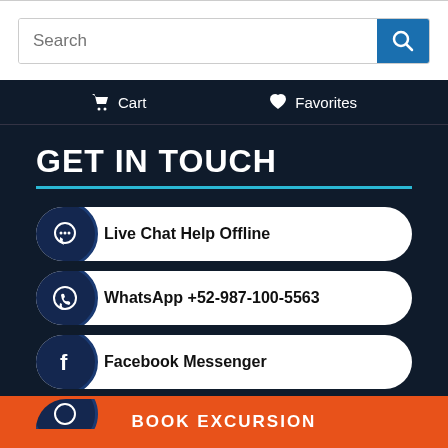[Figure (screenshot): Search bar with text input and blue search button with magnifying glass icon]
Cart
Favorites
GET IN TOUCH
Live Chat Help Offline
WhatsApp +52-987-100-5563
Facebook Messenger
BOOK EXCURSION